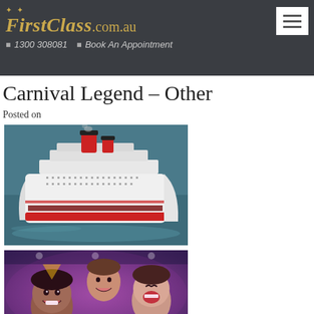FirstClass.com.au | ☎ 1300 308081 | ✉ Book An Appointment
Carnival Legend – Other
Posted on
[Figure (photo): Aerial view of the Carnival Legend cruise ship sailing on blue-green ocean water, white hull with red and blue funnel markings.]
[Figure (photo): Group of happy children laughing and smiling under purple/pink lighting, appearing to be at a kids club or party onboard the cruise ship.]